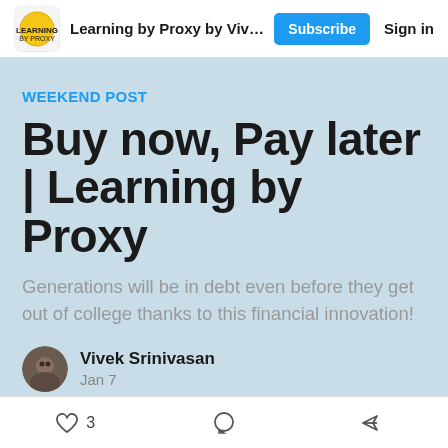Learning by Proxy by Vivek Sriniv... | Subscribe | Sign in
WEEKEND POST
Buy now, Pay later | Learning by Proxy
Generations will be in debt even before they get out of college thanks to this financial innovation!
Vivek Srinivasan
Jan 7
3 likes · comment · share